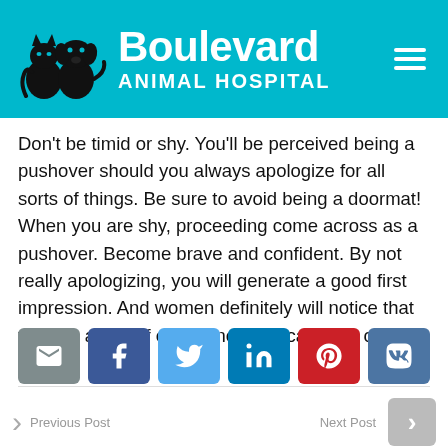[Figure (logo): Boulevard Animal Hospital logo with cat and dog silhouettes on teal background header with hamburger menu icon]
Don't be timid or shy. You'll be perceived being a pushover should you always apologize for all sorts of things. Be sure to avoid being a doormat! When you are shy, proceeding come across as a pushover. Become brave and confident. By not really apologizing, you will generate a good first impression. And women definitely will notice that you are a guy of confidence and can stick out.
[Figure (infographic): Social share buttons row: email (grey), Facebook (blue), Twitter (light blue), LinkedIn (dark blue), Pinterest (red), VK (steel blue)]
Previous Post  |  Next Post